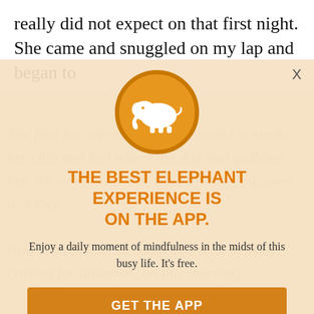really did not expect on that first night. She came and snuggled on my lap and began to
purr. It was in that moment, I realised something. I realised that traumatic experiences cause immense fear and pain, they can begin to heal with the right...
[Figure (logo): White elephant icon in an orange circle with darker orange border]
THE BEST ELEPHANT EXPERIENCE IS ON THE APP.
Enjoy a daily moment of mindfulness in the midst of this busy life. It's free.
GET THE APP
OPEN IN APP